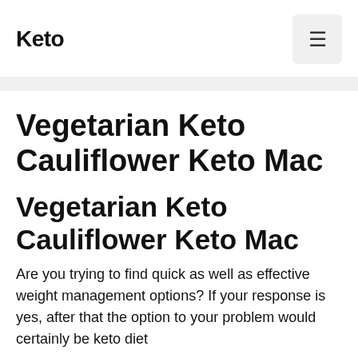Keto
Vegetarian Keto Cauliflower Keto Mac
Vegetarian Keto Cauliflower Keto Mac
Are you trying to find quick as well as effective weight management options? If your response is yes, after that the option to your problem would certainly be keto diet